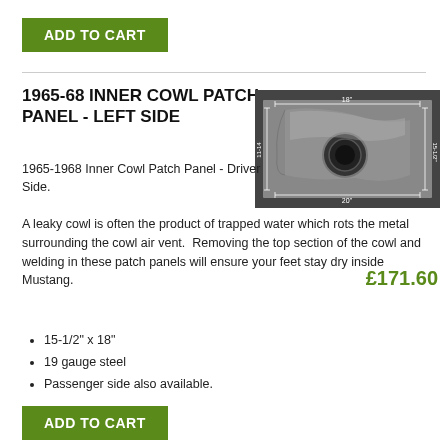ADD TO CART
1965-68 INNER COWL PATCH PANEL - LEFT SIDE
[Figure (photo): Photo of a metal inner cowl patch panel with dimension markings showing 15-1/2" x 18" measurements]
1965-1968 Inner Cowl Patch Panel - Driver Side.
A leaky cowl is often the product of trapped water which rots the metal surrounding the cowl air vent.  Removing the top section of the cowl and welding in these patch panels will ensure your feet stay dry inside Mustang.
£171.60
15-1/2" x 18"
19 gauge steel
Passenger side also available.
ADD TO CART